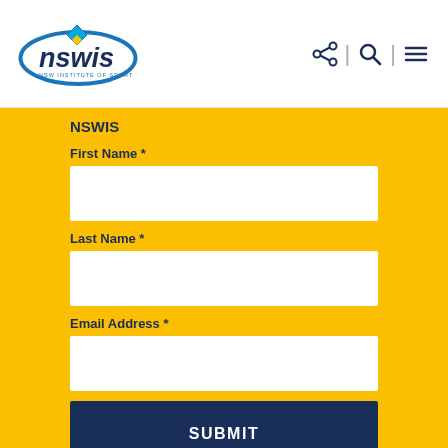[Figure (logo): NSWIS NSW Institute of Sport logo with blue ellipse and diamond shapes]
[Figure (infographic): Navigation icons: share, search, hamburger menu]
NSWIS
First Name *
Last Name *
Email Address *
SUBMIT